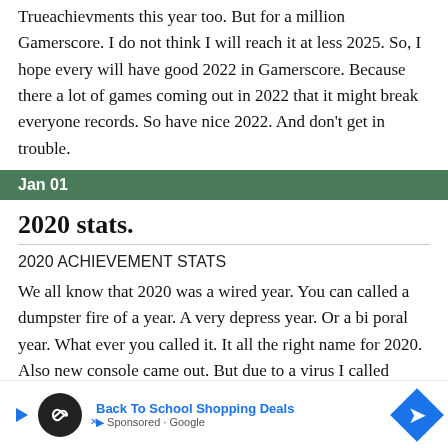Trueachievments this year too. But for a million Gamerscore. I do not think I will reach it at less 2025. So, I hope every will have good 2022 in Gamerscore. Because there a lot of games coming out in 2022 that it might break everyone records. So have nice 2022. And don't get in trouble.
Jan 01
2020 stats.
2020 ACHIEVEMENT STATS
We all know that 2020 was a wired year. You can called a dumpster fire of a year. A very depress year. Or a bi poral year. What ever you called it. It all the right name for 2020. Also new console came out. But due to a virus I called Broronest virus. But you kno... ne i...
[Figure (other): Advertisement banner: Back To School Shopping Deals with circular black icon and blue navigation arrow icon]